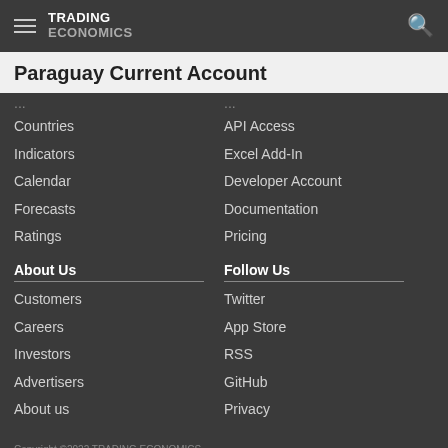TRADING ECONOMICS
Paraguay Current Account
Countries
Indicators
Calendar
Forecasts
Ratings
API Access
Excel Add-In
Developer Account
Documentation
Pricing
About Us
Follow Us
Customers
Careers
Investors
Advertisers
About us
Twitter
App Store
RSS
GitHub
Privacy
Copyright ©2022 TRADING ECONOMICS
All Rights Reserved